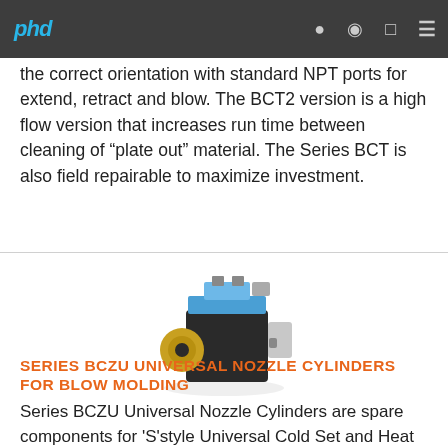phd
the correct orientation with standard NPT ports for extend, retract and blow. The BCT2 version is a high flow version that increases run time between cleaning of “plate out” material. The Series BCT is also field repairable to maximize investment.
[Figure (photo): Photo of the Series BCZU Universal Nozzle Cylinder product — a compact pneumatic cylinder assembly with a black body, gold-colored nozzle fitting on the left, and blue/silver actuator components on top.]
SERIES BCZU UNIVERSAL NOZZLE CYLINDERS FOR BLOW MOLDING
Series BCZU Universal Nozzle Cylinders are spare components for 'S'style Universal Cold Set and Heat Set Machines. These cylinders mount into